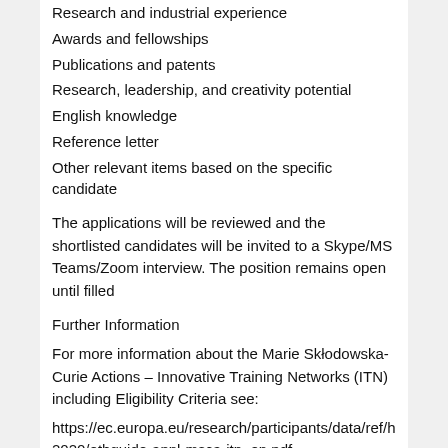Research and industrial experience
Awards and fellowships
Publications and patents
Research, leadership, and creativity potential
English knowledge
Reference letter
Other relevant items based on the specific candidate
The applications will be reviewed and the shortlisted candidates will be invited to a Skype/MS Teams/Zoom interview. The position remains open until filled
Further Information
For more information about the Marie Skłodowska-Curie Actions – Innovative Training Networks (ITN) including Eligibility Criteria see:
https://ec.europa.eu/research/participants/data/ref/h2020/othguide-appl-msca-itn_en.pdf
For more information about the post, please contact: severine.romero.baivier@vesuvius.com
Disclaimer